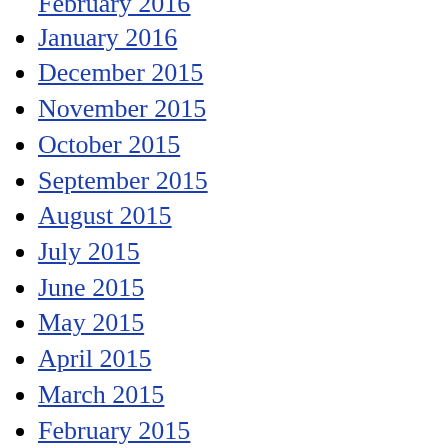February 2016
January 2016
December 2015
November 2015
October 2015
September 2015
August 2015
July 2015
June 2015
May 2015
April 2015
March 2015
February 2015
January 2015
December 2014
November 2014
October 2014
September 2014